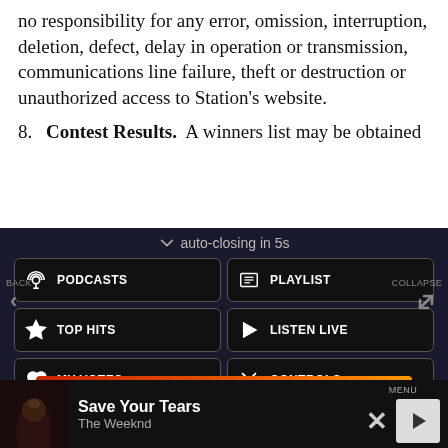no responsibility for any error, omission, interruption, deletion, defect, delay in operation or transmission, communications line failure, theft or destruction or unauthorized access to Station's website.
8. Contest Results. A winners list may be obtained
[Figure (screenshot): Mobile app navigation overlay on dark background showing auto-closing menu with buttons: PODCASTS, PLAYLIST, TOP HITS, LISTEN LIVE, MY VOTES, CONTROLS, plus BACK/COLLAPSE controls and Data opt-out toggle]
[Figure (screenshot): Mobile advertisement banner for BitLife game showing emoji characters and 'REAL CHOICES' text]
[Figure (screenshot): Music player bottom bar showing 'Save Your Tears' by The Weeknd with MENU, close and play controls]